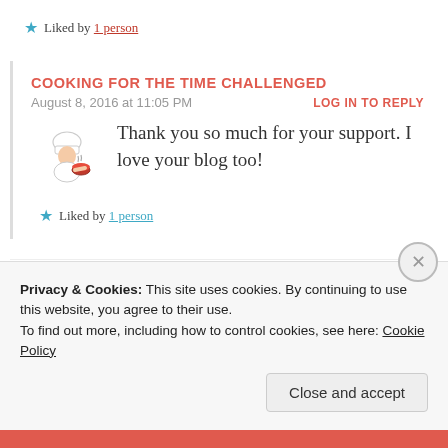★ Liked by 1 person
COOKING FOR THE TIME CHALLENGED
August 8, 2016 at 11:05 PM
LOG IN TO REPLY
Thank you so much for your support. I love your blog too!
★ Liked by 1 person
Privacy & Cookies: This site uses cookies. By continuing to use this website, you agree to their use.
To find out more, including how to control cookies, see here: Cookie Policy
Close and accept